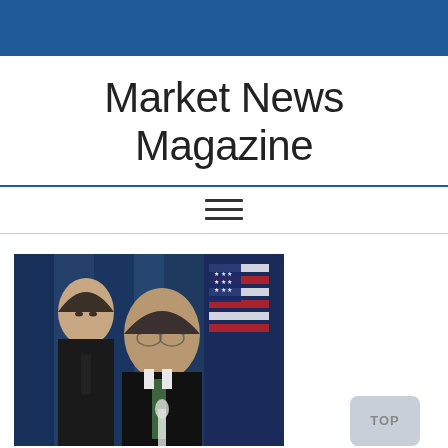Market News Magazine
[Figure (other): Hamburger menu icon (three horizontal lines)]
[Figure (photo): Two men at a press conference, one in foreground speaking at microphone, one in background, with an American flag visible]
TOP